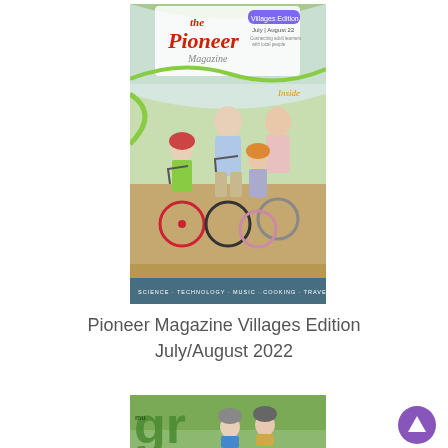[Figure (photo): Cover of The Pioneer Magazine Villages Edition July/August 2022 showing a family of four riding bicycles outdoors. The cover has the magazine logo at the top, an 'Inside' callout on the right side, and a banner at the bottom.]
Pioneer Magazine Villages Edition July/August 2022
[Figure (photo): Partial view of another magazine cover showing two children with bicycle helmets on a green outdoor background, with large green text partially visible on the left.]